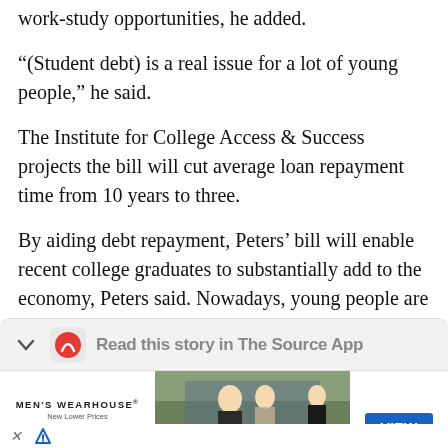work-study opportunities, he added.
“(Student debt) is a real issue for a lot of young people,” he said.
The Institute for College Access & Success projects the bill will cut average loan repayment time from 10 years to three.
By aiding debt repayment, Peters’ bill will enable recent college graduates to substantially add to the economy, Peters said. Nowadays, young people are waiting longer to buy cars, buy houses and start families, he said.
[Figure (screenshot): App download banner with chevron icon, app logo, and text 'Read this story in The Source App']
[Figure (photo): Men's Wearhouse advertisement showing couple in formal wear and man in suit, with VIEW button]